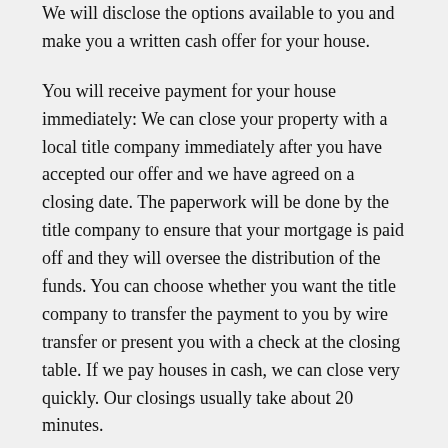We will disclose the options available to you and make you a written cash offer for your house.
You will receive payment for your house immediately: We can close your property with a local title company immediately after you have accepted our offer and we have agreed on a closing date. The paperwork will be done by the title company to ensure that your mortgage is paid off and they will oversee the distribution of the funds. You can choose whether you want the title company to transfer the payment to you by wire transfer or present you with a check at the closing table. If we pay houses in cash, we can close very quickly. Our closings usually take about 20 minutes.
If you have a house in Gladstone, Missouri, contact us to buy it quickly!
We are fair in our dealings. We offer you a fair price,